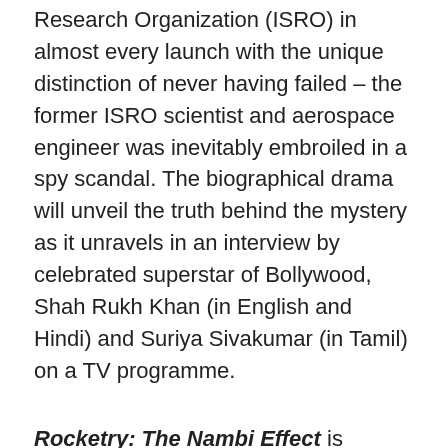Research Organization (ISRO) in almost every launch with the unique distinction of never having failed – the former ISRO scientist and aerospace engineer was inevitably embroiled in a spy scandal. The biographical drama will unveil the truth behind the mystery as it unravels in an interview by celebrated superstar of Bollywood, Shah Rukh Khan (in English and Hindi) and Suriya Sivakumar (in Tamil) on a TV programme.
Rocketry: The Nambi Effect is produced by TriColour films, Varghese Moolan Pictures and 27th Investments. The film is being distributed by UFO Moviez in India, with Red Giants distributing in the South, and distributed internationally by Yash Raj Films and Phars Film Co.